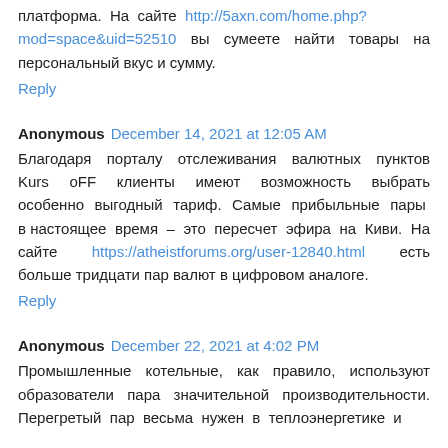платформа. На сайте http://5axn.com/home.php?mod=space&uid=52510 вы сумеете найти товары на персональный вкус и сумму.
Reply
Anonymous December 14, 2021 at 12:05 AM
Благодаря порталу отслеживания валютных пунктов Kurs oFF клиенты имеют возможность выбрать особенно выгодный тариф. Самые прибыльные пары в настоящее время – это пересчет эфира на Киви. На сайте https://atheistforums.org/user-12840.html есть больше тридцати пар валют в цифровом аналоге.
Reply
Anonymous December 22, 2021 at 4:02 PM
Промышленные котельные, как правило, используют образователи пара значительной производительности. Перегретый пар весьма нужен в теплоэнергетике и